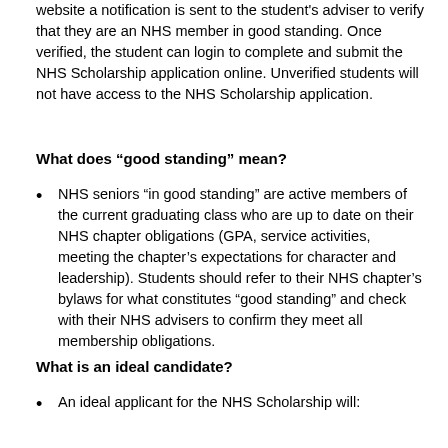website a notification is sent to the student's adviser to verify that they are an NHS member in good standing. Once verified, the student can login to complete and submit the NHS Scholarship application online. Unverified students will not have access to the NHS Scholarship application.
What does “good standing” mean?
NHS seniors “in good standing” are active members of the current graduating class who are up to date on their NHS chapter obligations (GPA, service activities, meeting the chapter’s expectations for character and leadership). Students should refer to their NHS chapter’s bylaws for what constitutes “good standing” and check with their NHS advisers to confirm they meet all membership obligations.
What is an ideal candidate?
An ideal applicant for the NHS Scholarship will: